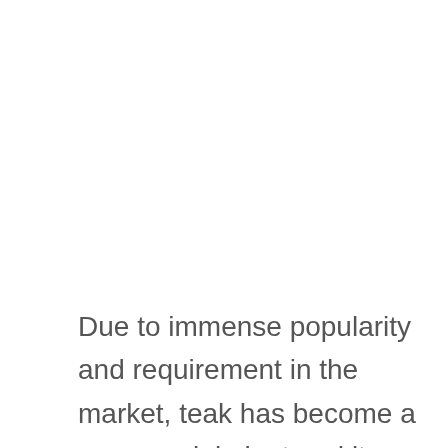Due to immense popularity and requirement in the market, teak has become a commercial plant and its cultivation and promotion are being